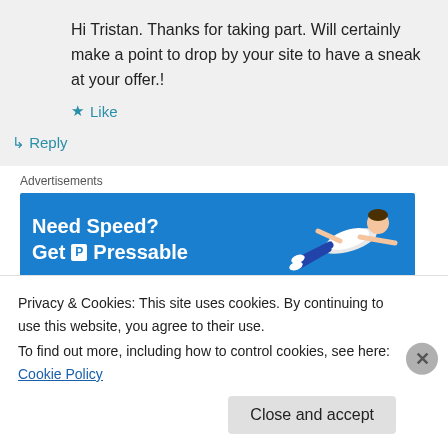Hi Tristan. Thanks for taking part. Will certainly make a point to drop by your site to have a sneak at your offer.!
★ Like
↳ Reply
Advertisements
[Figure (other): Blue advertisement banner for Pressable hosting: 'Need Speed? Get P Pressable' with a figure of a person flying/diving to the right.]
REPORT THIS AD
Privacy & Cookies: This site uses cookies. By continuing to use this website, you agree to their use.
To find out more, including how to control cookies, see here: Cookie Policy
Close and accept